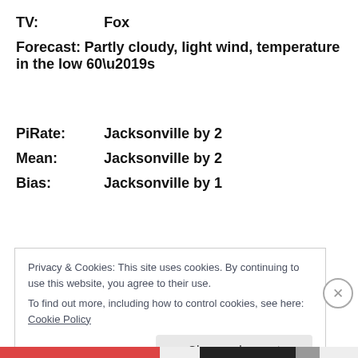TV: Fox
Forecast: Partly cloudy, light wind, temperature in the low 60’s
PiRate: Jacksonville by 2
Mean: Jacksonville by 2
Bias: Jacksonville by 1
Privacy & Cookies: This site uses cookies. By continuing to use this website, you agree to their use.
To find out more, including how to control cookies, see here: Cookie Policy